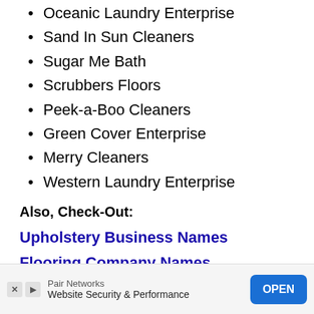Oceanic Laundry Enterprise
Sand In Sun Cleaners
Sugar Me Bath
Scrubbers Floors
Peek-a-Boo Cleaners
Green Cover Enterprise
Merry Cleaners
Western Laundry Enterprise
Also, Check-Out:
Upholstery Business Names
Flooring Company Names
[Figure (other): Advertisement banner: Pair Networks - Website Security & Performance, with OPEN button]